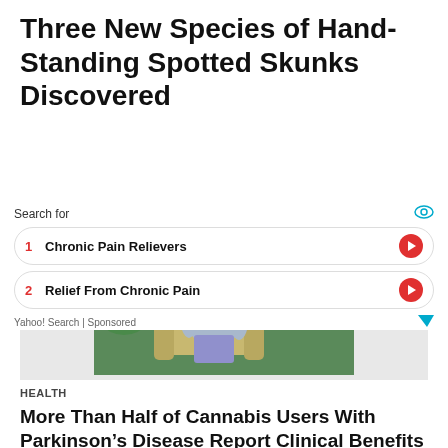Three New Species of Hand-Standing Spotted Skunks Discovered
[Figure (photo): Elderly woman sitting in a garden chair wearing a hat, reading or using a device outdoors among green plants and yellow flowers]
HEALTH
More Than Half of Cannabis Users With Parkinson’s Disease Report Clinical Benefits
Search for
1  Chronic Pain Relievers
2  Relief From Chronic Pain
Yahoo! Search | Sponsored